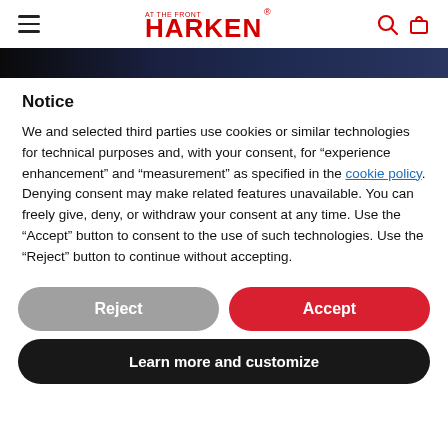Harken navigation header with hamburger menu, Harken logo, search and cart icons
[Figure (photo): Dark hero image strip showing what appears to be a sailing or marine scene]
Notice
We and selected third parties use cookies or similar technologies for technical purposes and, with your consent, for “experience enhancement” and “measurement” as specified in the cookie policy. Denying consent may make related features unavailable. You can freely give, deny, or withdraw your consent at any time. Use the “Accept” button to consent to the use of such technologies. Use the “Reject” button to continue without accepting.
Reject
Accept
Learn more and customize